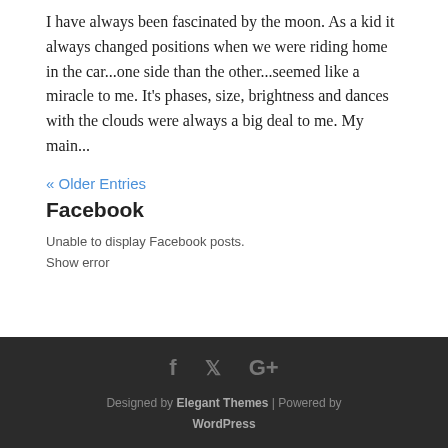I have always been fascinated by the moon. As a kid it always changed positions when we were riding home in the car...one side than the other...seemed like a miracle to me. It's phases, size, brightness and dances with the clouds were always a big deal to me. My main...
« Older Entries
Facebook
Unable to display Facebook posts.
Show error
Designed by Elegant Themes | Powered by WordPress